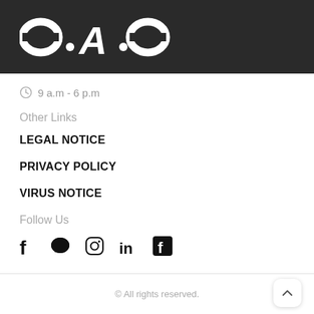[Figure (logo): O.A.O logo in white bold italic strikethrough text on dark background]
⊙ 9 a.m - 6 p.m
Other Links
LEGAL NOTICE
PRIVACY POLICY
VIRUS NOTICE
Follow Us
[Figure (other): Social media icons: Facebook, chat bubble, Instagram, LinkedIn, Facebook]
© All rights reserved.